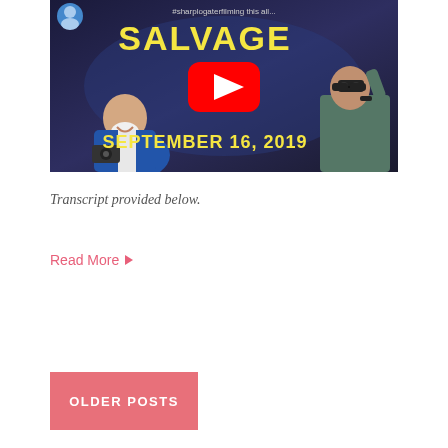[Figure (screenshot): YouTube video thumbnail showing 'SALVAGE' title in yellow text with 'SEPTEMBER 16, 2019' date, a YouTube play button, and two people (an older man in blue jacket and a younger man with binoculars), dark blue background]
Transcript provided below.
Read More ▶
OLDER POSTS